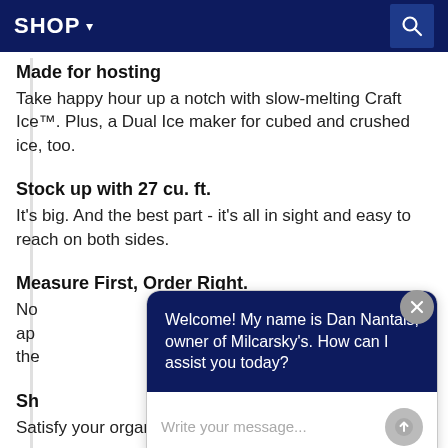SHOP ▾
Made for hosting
Take happy hour up a notch with slow-melting Craft Ice™. Plus, a Dual Ice maker for cubed and crushed ice, too.
Stock up with 27 cu. ft.
It's big. And the best part - it's all in sight and easy to reach on both sides.
Measure First, Order Right.
No...app...the
Sh
Satisfy your organized side. Show off your
[Figure (screenshot): Chat widget overlay with dark blue header containing message 'Welcome! My name is Dan Nantais, owner of Milcarsky's. How can I assist you today?' and white input area with placeholder 'Write your message...' and a gray send button. A gray X close button sits above-right of the chat box.]